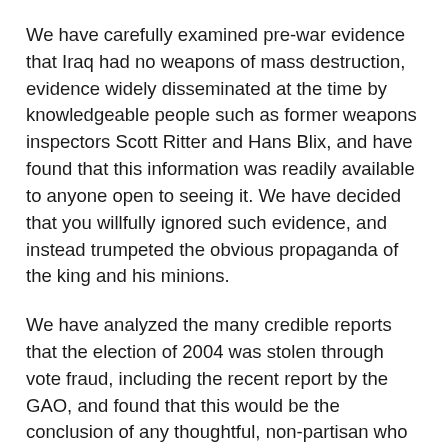We have carefully examined pre-war evidence that Iraq had no weapons of mass destruction, evidence widely disseminated at the time by knowledgeable people such as former weapons inspectors Scott Ritter and Hans Blix, and have found that this information was readily available to anyone open to seeing it. We have decided that you willfully ignored such evidence, and instead trumpeted the obvious propaganda of the king and his minions.
We have analyzed the many credible reports that the election of 2004 was stolen through vote fraud, including the recent report by the GAO, and found that this would be the conclusion of any thoughtful, non-partisan who spent the time to think through the issue. We thus find you have willfully attempted to consolidate the power of those who came to power through a coup.
We have thoughtfully reflected on the abundant evidence that U.S. troops violated the Geneva Conventions by torturing prisoners -- many of them innocent people -- in Afghanistan, Iraq, and around the world, and that such torture was clearly ordered by George W. Bush, Dick...